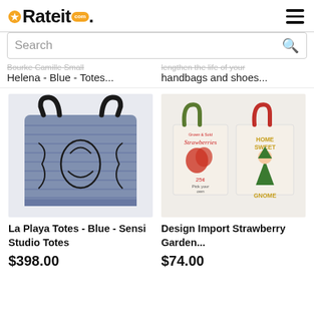Rateit.com
Search
Bourke Camille Small Helena - Blue - Totes...
lengthen the life of your handbags and shoes...
[Figure (photo): Blue woven crochet tote bag with black handles and black floral embroidery design - La Playa Totes Blue by Sensi Studio]
La Playa Totes - Blue - Sensi Studio Totes
$398.00
[Figure (photo): Two canvas tote bags side by side: one with Strawberries vintage design and one with Home Sweet Gnome design]
Design Import Strawberry Garden...
$74.00